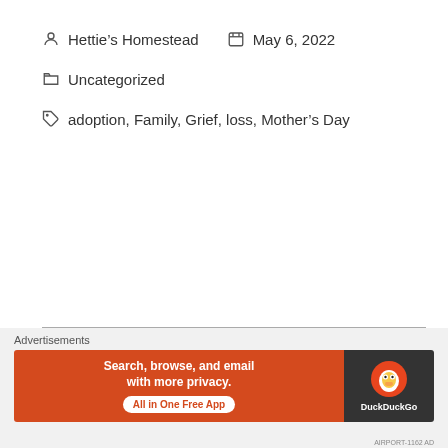Hettie's Homestead   May 6, 2022
Uncategorized
adoption, Family, Grief, loss, Mother's Day
Advertisements
[Figure (other): DuckDuckGo advertisement banner: orange left panel with text 'Search, browse, and email with more privacy. All in One Free App' and dark right panel with DuckDuckGo duck logo]